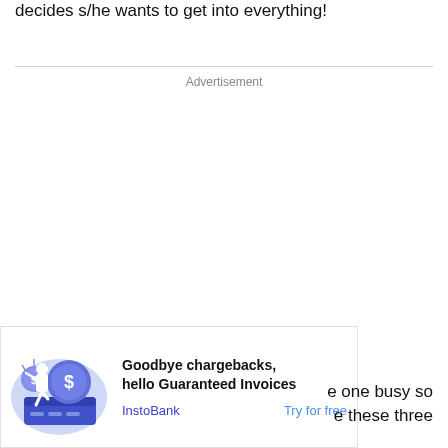decides s/he wants to get into everything!
Advertisement
[Figure (infographic): InstoBank advertisement banner with illustration of a person holding a dollar coin next to a credit card. Text reads: 'Goodbye chargebacks, hello Guaranteed Invoices'. Links: InstoBank | Try for free]
e one busy so e these three